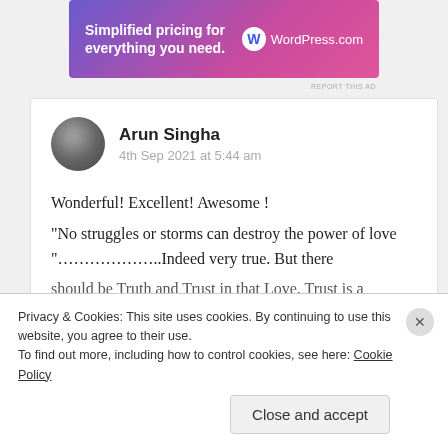[Figure (other): WordPress.com advertisement banner with purple-pink gradient background. Text: 'Simplified pricing for everything you need.' with WordPress.com logo.]
REPORT THIS AD
Arun Singha
4th Sep 2021 at 5:44 am
Wonderful! Excellent! Awesome !
"No struggles or storms can destroy the power of love "………………..Indeed very true. But there should be Truth and Trust in that Love. Trust is a
Privacy & Cookies: This site uses cookies. By continuing to use this website, you agree to their use.
To find out more, including how to control cookies, see here: Cookie Policy
Close and accept